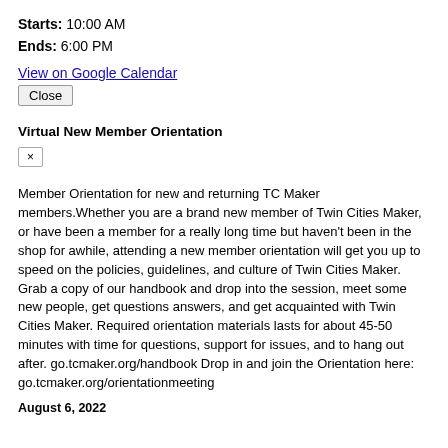Starts: 10:00 AM
Ends: 6:00 PM
View on Google Calendar
Close
Virtual New Member Orientation
×
Member Orientation for new and returning TC Maker members.Whether you are a brand new member of Twin Cities Maker, or have been a member for a really long time but haven't been in the shop for awhile, attending a new member orientation will get you up to speed on the policies, guidelines, and culture of Twin Cities Maker. Grab a copy of our handbook and drop into the session, meet some new people, get questions answers, and get acquainted with Twin Cities Maker. Required orientation materials lasts for about 45-50 minutes with time for questions, support for issues, and to hang out after. go.tcmaker.org/handbook Drop in and join the Orientation here: go.tcmaker.org/orientationmeeting
August 6, 2022